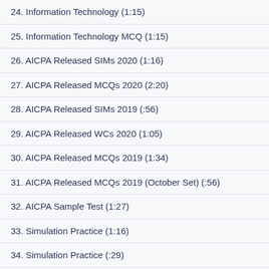24. Information Technology (1:15)
25. Information Technology MCQ (1:15)
26. AICPA Released SIMs 2020 (1:16)
27. AICPA Released MCQs 2020 (2:20)
28. AICPA Released SIMs 2019 (:56)
29. AICPA Released WCs 2020 (1:05)
30. AICPA Released MCQs 2019 (1:34)
31. AICPA Released MCQs 2019 (October Set) (:56)
32. AICPA Sample Test (1:27)
33. Simulation Practice (1:16)
34. Simulation Practice (:29)
35. MCQ Practice (:43)